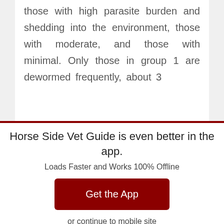those with high parasite burden and shedding into the environment, those with moderate, and those with minimal. Only those in group 1 are dewormed frequently, about 3
Horse Side Vet Guide is even better in the app.
Loads Faster and Works 100% Offline
Get the App
or continue to mobile site